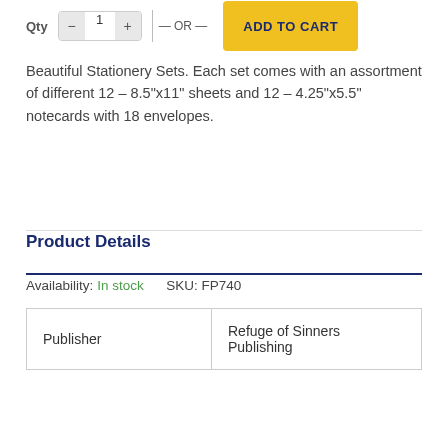Beautiful Stationery Sets. Each set comes with an assortment of different 12 – 8.5"x11" sheets and 12 – 4.25"x5.5" notecards with 18 envelopes.
Product Details
Availability: In stock   SKU: FP740
| Publisher | Refuge of Sinners Publishing |
| --- | --- |